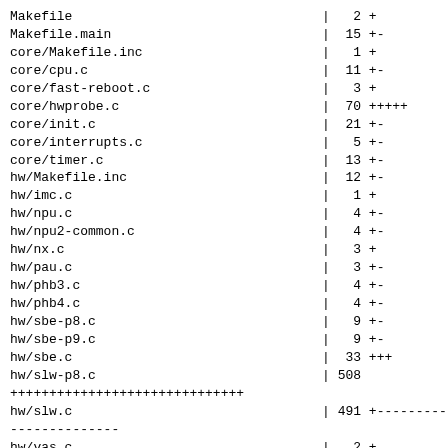Makefile                                |   2 +
Makefile.main                           |  15 +-
core/Makefile.inc                       |   1 +
core/cpu.c                              |  11 +-
core/fast-reboot.c                      |   3 +
core/hwprobe.c                          |  70 +++++
core/init.c                             |  21 +-
core/interrupts.c                       |   5 +-
core/timer.c                            |  13 +-
hw/Makefile.inc                         |  12 +-
hw/imc.c                                |   1 +
hw/npu.c                                |   4 +-
hw/npu2-common.c                        |   4 +-
hw/nx.c                                 |   3 +
hw/pau.c                                |   3 +-
hw/phb3.c                               |   4 +-
hw/phb4.c                               |   4 +-
hw/sbe-p8.c                             |   9 +-
hw/sbe-p9.c                             |   9 +-
hw/sbe.c                                |  33 +++
hw/slw-p8.c                             | 508
++++++++++++++++++++++++++++++
hw/slw.c                                | 491 +-----------------
--------------
hw/vas.c                                |   2 +
hw/xive.c                               |   1 +
hw/xive2.c                              |   1 +
include/npu.h                           |   7 +
include/sbe-p8.h                        |   5 +-
include/skiboot.h                       |   3 +